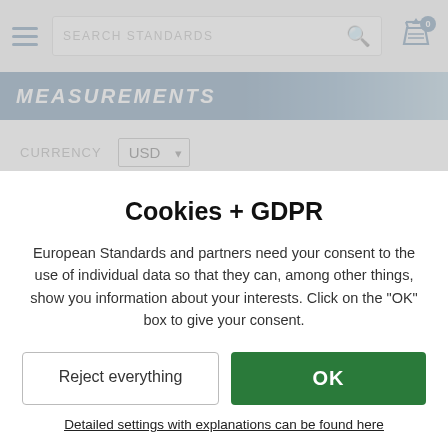[Figure (screenshot): Website navigation bar with hamburger menu, search bar labeled SEARCH STANDARDS with magnifying glass icon, and shopping cart icon with badge showing 0]
MEASUREMENTS
CURRENCY  USD
PRICES include / exclude VAT
Cookies + GDPR
European Standards and partners need your consent to the use of individual data so that they can, among other things, show you information about your interests. Click on the "OK" box to give your consent.
Reject everything   OK
Detailed settings with explanations can be found here